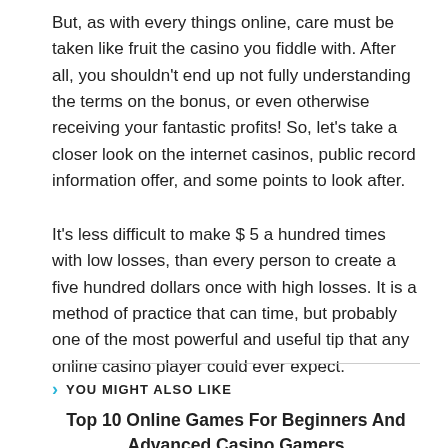But, as with every things online, care must be taken like fruit the casino you fiddle with. After all, you shouldn't end up not fully understanding the terms on the bonus, or even otherwise receiving your fantastic profits! So, let's take a closer look on the internet casinos, public record information offer, and some points to look after.
It's less difficult to make $ 5 a hundred times with low losses, than every person to create a five hundred dollars once with high losses. It is a method of practice that can time, but probably one of the most powerful and useful tip that any online casino player could ever expect.
YOU MIGHT ALSO LIKE
Top 10 Online Games For Beginners And Advanced Casino Gamers